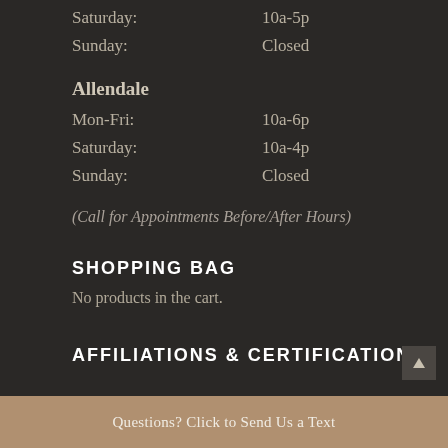Saturday:    10a-5p
Sunday:    Closed
Allendale
Mon-Fri:    10a-6p
Saturday:    10a-4p
Sunday:    Closed
(Call for Appointments Before/After Hours)
SHOPPING BAG
No products in the cart.
AFFILIATIONS & CERTIFICATIONS
Questions? Click to Send Us a Text